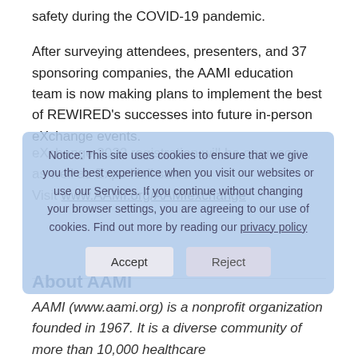safety during the COVID-19 pandemic.
After surveying attendees, presenters, and 37 sponsoring companies, the AAMI education team is now making plans to implement the best of REWIRED's successes into future in-person eXchange events.
eXchange 2022 registration will be open soon, as well as Expo Hall sales. Visit www.AAMI.org/AAMIexchange
Notice: This site uses cookies to ensure that we give you the best experience when you visit our websites or use our Services. If you continue without changing your browser settings, you are agreeing to our use of cookies. Find out more by reading our privacy policy
About AAMI
AAMI (www.aami.org) is a nonprofit organization founded in 1967. It is a diverse community of more than 10,000 healthcare